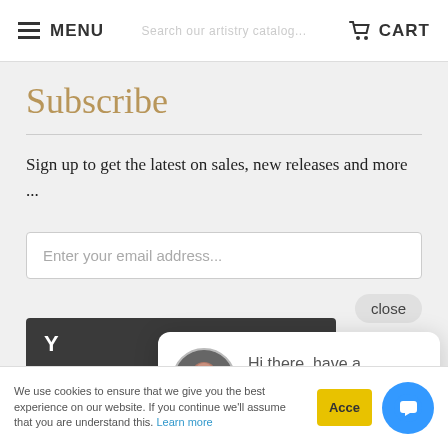MENU  CART
Subscribe
Sign up to get the latest on sales, new releases and more ...
Enter your email address...
Y
close
[Figure (photo): Chat popup with avatar photo of a woman, text: Hi there, have a question? Text us here.]
Clients
We use cookies to ensure that we give you the best experience on our website. If you continue we'll assume that you are understand this. Learn more
Accept